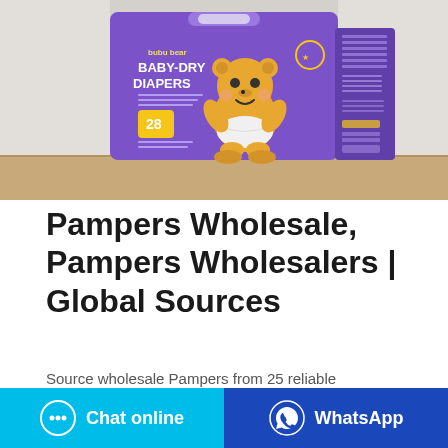[Figure (photo): Product photo of bubu bear BABY-DRY DIAPERS package (purple box with cartoon bear character, count 28) sitting on a wooden shelf against a light background.]
Pampers Wholesale, Pampers Wholesalers | Global Sources
Source wholesale Pampers from 25 reliable wholesalers. Large selection of quality wholesale Pampers products in